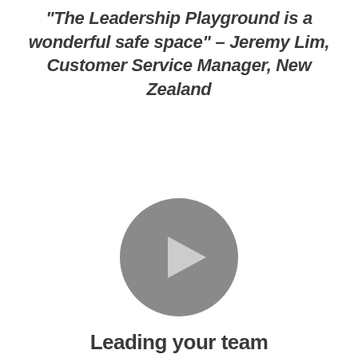"The Leadership Playground is a wonderful safe space" – Jeremy Lim, Customer Service Manager, New Zealand
[Figure (other): A circular grey play button icon representing a video player thumbnail]
Leading your team